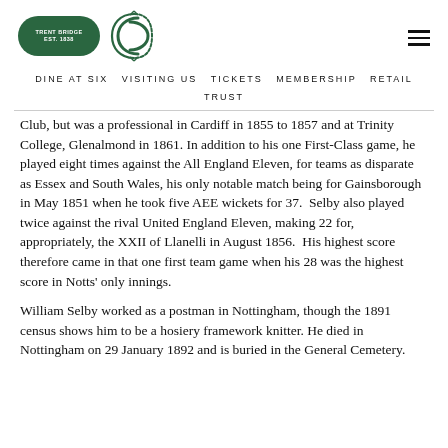[Figure (logo): Trent Bridge cricket club logo: green oval badge with 'TRENT BRIDGE' text and ornate CC monogram in dark green]
DINE AT SIX  VISITING US  TICKETS  MEMBERSHIP  RETAIL  TRUST
Club, but was a professional in Cardiff in 1855 to 1857 and at Trinity College, Glenalmond in 1861. In addition to his one First-Class game, he played eight times against the All England Eleven, for teams as disparate as Essex and South Wales, his only notable match being for Gainsborough in May 1851 when he took five AEE wickets for 37.  Selby also played twice against the rival United England Eleven, making 22 for, appropriately, the XXII of Llanelli in August 1856.  His highest score therefore came in that one first team game when his 28 was the highest score in Notts' only innings.
William Selby worked as a postman in Nottingham, though the 1891 census shows him to be a hosiery framework knitter. He died in Nottingham on 29 January 1892 and is buried in the General Cemetery.